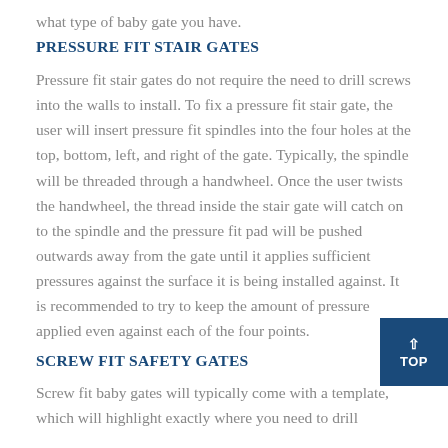what type of baby gate you have.
PRESSURE FIT STAIR GATES
Pressure fit stair gates do not require the need to drill screws into the walls to install. To fix a pressure fit stair gate, the user will insert pressure fit spindles into the four holes at the top, bottom, left, and right of the gate. Typically, the spindle will be threaded through a handwheel. Once the user twists the handwheel, the thread inside the stair gate will catch on to the spindle and the pressure fit pad will be pushed outwards away from the gate until it applies sufficient pressures against the surface it is being installed against. It is recommended to try to keep the amount of pressure applied even against each of the four points.
SCREW FIT SAFETY GATES
Screw fit baby gates will typically come with a template, which will highlight exactly where you need to drill